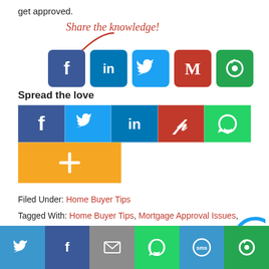get approved.
[Figure (infographic): Share the knowledge! with arrow pointing to social share icons (Facebook, LinkedIn, Twitter, Gmail, other)]
Spread the love
[Figure (infographic): Social share buttons: Facebook, Twitter, LinkedIn, Pinterest, WhatsApp, and a plus button]
Filed Under: Home Buyer Tips
Tagged With: Home Buyer Tips, Mortgage Approval Issues, Mortgage Tips
Twitter | Facebook | Email | WhatsApp | SMS | Other share icons